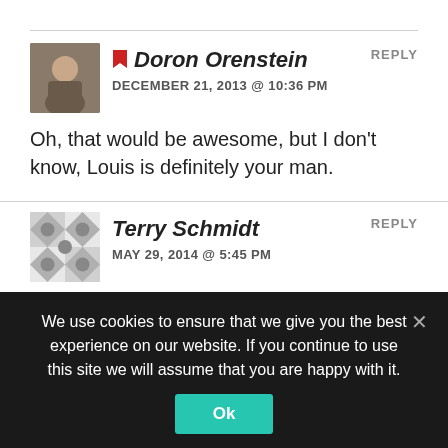[Figure (other): Comment by Doron Orenstein with avatar photo and red bookmark icon]
Oh, that would be awesome, but I don't know, Louis is definitely your man.
[Figure (other): Comment by Terry Schmidt with geometric avatar pattern]
What became of Michaels saxophones?
[Figure (other): Comment by Louis Gerrits (partially visible) with teal geometric avatar]
We use cookies to ensure that we give you the best experience on our website. If you continue to use this site we will assume that you are happy with it.